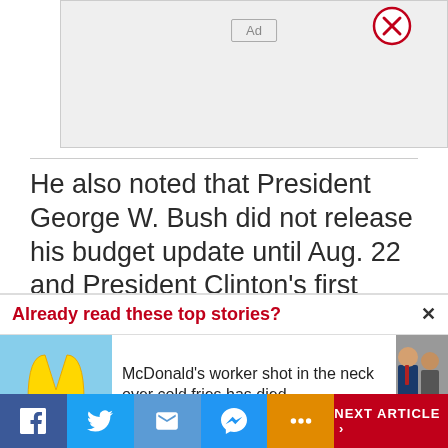[Figure (other): Advertisement placeholder banner with 'Ad' label and red X close button]
He also noted that President George W. Bush did not release his budget update until Aug. 22 and President Clinton’s first review was
Already read these top stories?
[Figure (photo): McDonald's golden arches sign photo thumbnail]
McDonald’s worker shot in the neck over cold fries has died
[Figure (photo): Partial photo of people in suits on right edge of screen]